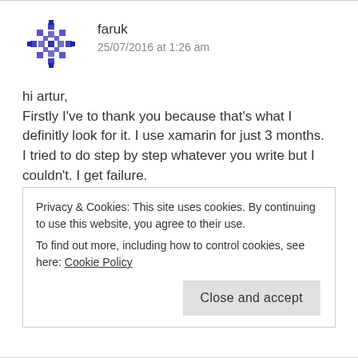[Figure (illustration): Geometric snowflake/star avatar icon in blue/purple pixel art style]
faruk
25/07/2016 at 1:26 am
hi artur,
Firstly I've to thank you because that's what I definitly look for it. I use xamarin for just 3 months.
I tried to do step by step whatever you write but I couldn't. I get failure.
"System.InvalidOperationException: Call Init first".
Could you share your poject please. Wait your answer asap.
Privacy & Cookies: This site uses cookies. By continuing to use this website, you agree to their use.
To find out more, including how to control cookies, see here: Cookie Policy
Close and accept